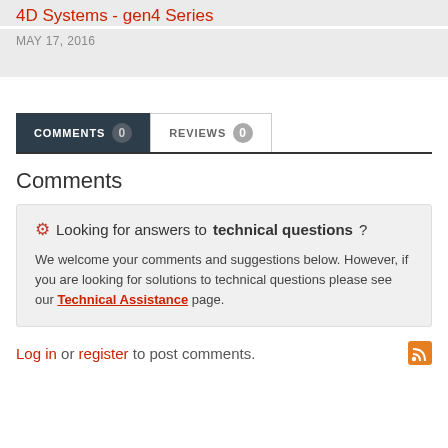4D Systems - gen4 Series
MAY 17, 2016
COMMENTS 0   REVIEWS 0
Comments
Looking for answers to technical questions?
We welcome your comments and suggestions below. However, if you are looking for solutions to technical questions please see our Technical Assistance page.
Log in or register to post comments.